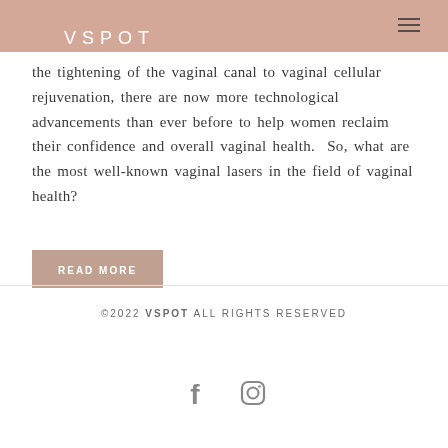VSPOT
the tightening of the vaginal canal to vaginal cellular rejuvenation, there are now more technological advancements than ever before to help women reclaim their confidence and overall vaginal health.  So, what are the most well-known vaginal lasers in the field of vaginal health?
READ MORE
©2022 VSPOT ALL RIGHTS RESERVED